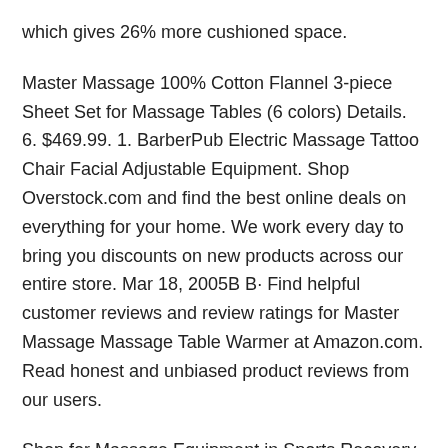which gives 26% more cushioned space.
Master Massage 100% Cotton Flannel 3-piece Sheet Set for Massage Tables (6 colors) Details. 6. $469.99. 1. BarberPub Electric Massage Tattoo Chair Facial Adjustable Equipment. Shop Overstock.com and find the best online deals on everything for your home. We work every day to bring you discounts on new products across our entire store. Mar 18, 2005B B· Find helpful customer reviews and review ratings for Master Massage Massage Table Warmer at Amazon.com. Read honest and unbiased product reviews from our users.
Shop for Massage Equipment in Sports Recovery, Injury Prevention. Buy products such as Portable Wooden 2 Sections Massage Table Folding Massage Bed Couch with Headrest/Armrest/Hand Pallet at Walmart and save. Shop for Massage Tables in Massage Equipment. Buy products such